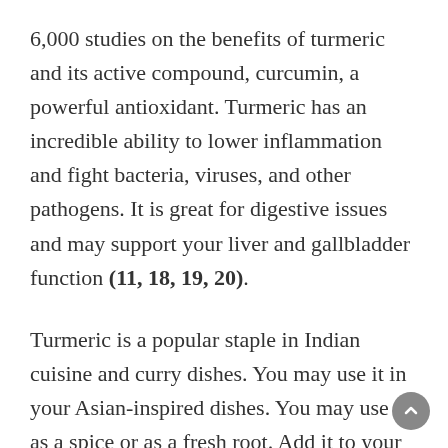6,000 studies on the benefits of turmeric and its active compound, curcumin, a powerful antioxidant. Turmeric has an incredible ability to lower inflammation and fight bacteria, viruses, and other pathogens. It is great for digestive issues and may support your liver and gallbladder function (11, 18, 19, 20).
Turmeric is a popular staple in Indian cuisine and curry dishes. You may use it in your Asian-inspired dishes. You may use it as a spice or as a fresh root. Add it to your salads, smoothies, soups, and dips. For further liver and gallbladder support and anti-inflammatory benefits., I also recommend taking